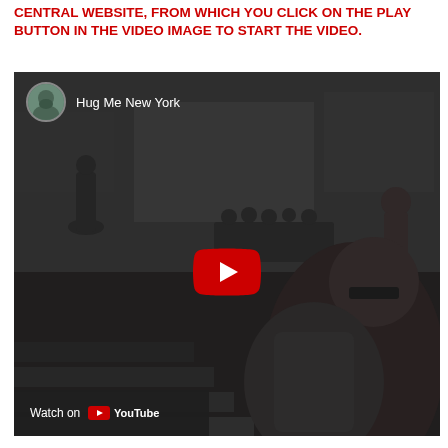CENTRAL WEBSITE, FROM WHICH YOU CLICK ON THE PLAY BUTTON IN THE VIDEO IMAGE TO START THE VIDEO.
[Figure (screenshot): YouTube video thumbnail for 'Hug Me New York' showing a darkened outdoor scene with people in a public space and a woman in foreground wearing sunglasses. A YouTube red play button is centered on the image. Channel avatar and title 'Hug Me New York' appear in top left. A 'Watch on YouTube' bar appears at bottom left.]